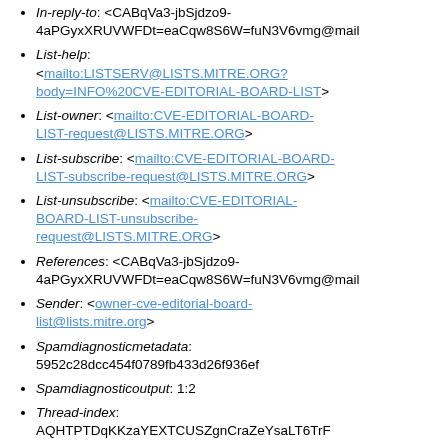In-reply-to: <CABqVa3-jbSjdzo9-4aPGyxXRUVWFDt=eaCqw8S6W=fuN3V6vmg@mail
List-help: <mailto:LISTSERV@LISTS.MITRE.ORG?body=INFO%20CVE-EDITORIAL-BOARD-LIST>
List-owner: <mailto:CVE-EDITORIAL-BOARD-LIST-request@LISTS.MITRE.ORG>
List-subscribe: <mailto:CVE-EDITORIAL-BOARD-LIST-subscribe-request@LISTS.MITRE.ORG>
List-unsubscribe: <mailto:CVE-EDITORIAL-BOARD-LIST-unsubscribe-request@LISTS.MITRE.ORG>
References: <CABqVa3-jbSjdzo9-4aPGyxXRUVWFDt=eaCqw8S6W=fuN3V6vmg@mail
Sender: <owner-cve-editorial-board-list@lists.mitre.org>
Spamdiagnosticmetadata: 5952c28dcc454f0789fb433d26f936ef
Spamdiagnosticoutput: 1:2
Thread-index: AQHTPTDqKKzaYEXTCUSZgnCraZeYsaLT6TrF
Thread-topic: CVEs with no REF URL (or a REF